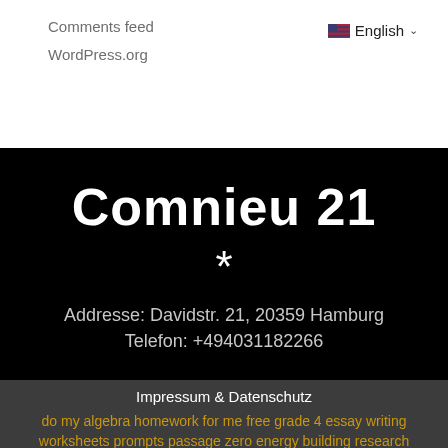Comments feed
WordPress.org
English
Comnieu 21
*
Addresse: Davidstr. 21, 20359 Hamburg
Telefon: +494031182266
Impressum & Datenschutz
do my algebra homework for me free grade 4 essay writing worksheets prompts passage zero energy building research paper pdf writing great seo content 2019 outsourcing essay